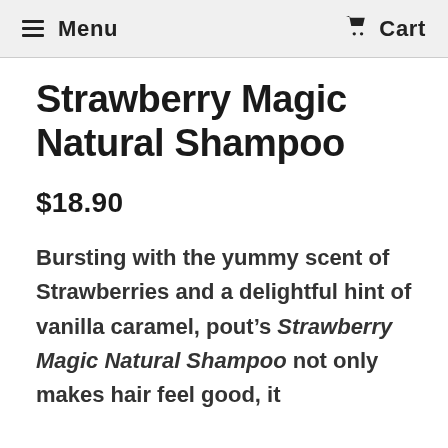Menu  Cart
Strawberry Magic Natural Shampoo
$18.90
Bursting with the yummy scent of Strawberries and a delightful hint of vanilla caramel, pout’s Strawberry Magic Natural Shampoo not only makes hair feel good, it